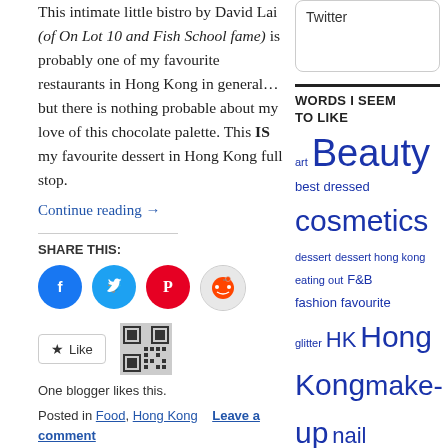This intimate little bistro by David Lai (of On Lot 10 and Fish School fame) is probably one of my favourite restaurants in Hong Kong in general… but there is nothing probable about my love of this chocolate palette. This IS my favourite dessert in Hong Kong full stop.
Continue reading →
SHARE THIS:
One blogger likes this.
Posted in Food, Hong Kong   Leave a comment
Tagged best chocolate mousse in Hong Kong, best chocolate tart Hong Kong
Twitter
WORDS I SEEM TO LIKE
art Beauty best dressed cosmetics dessert dessert hong kong eating out F&B fashion favourite glitter HK Hong Kong make-up nail lacquer nail polish nail varnish O.P.I OPI photos pictures Pretty Things quirky stuff red carpet restaurant